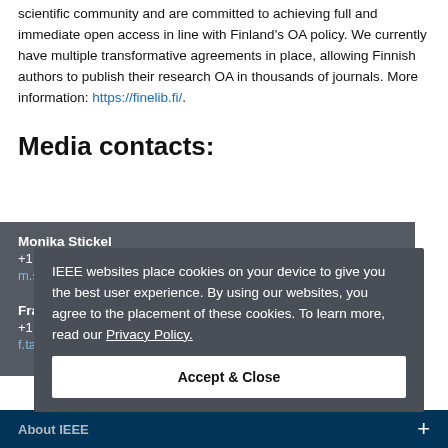scientific community and are committed to achieving full and immediate open access in line with Finland's OA policy. We currently have multiple transformative agreements in place, allowing Finnish authors to publish their research OA in thousands of journals. More information: https://finelib.fi/.
Media contacts:
Monika Stickel
+1 732 562 6027
m.stickel@ieee.org
Frances Tardo
+1 ...
f.tardo@ieee.org
IEEE websites place cookies on your device to give you the best user experience. By using our websites, you agree to the placement of these cookies. To learn more, read our Privacy Policy.
Accept & Close
About IEEE  +